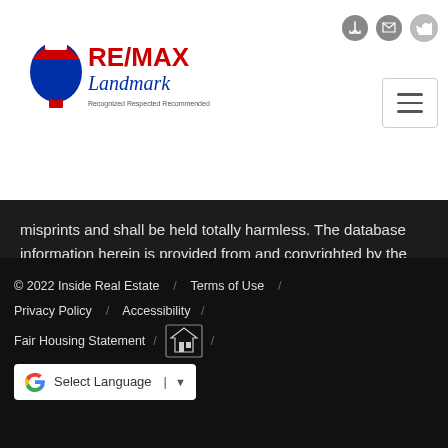[Figure (logo): RE/MAX Landmark logo with balloon graphic and tagline 'Recognized Respected Recommended']
misprints and shall be held totally harmless. The database information herein is provided from and copyrighted by the North Texas Real Estate   Show More...
© 2022 Inside Real Estate / Terms of Use / Privacy Policy / Accessibility / Fair Housing Statement / [Equal Housing Opportunity logo] / Select Language